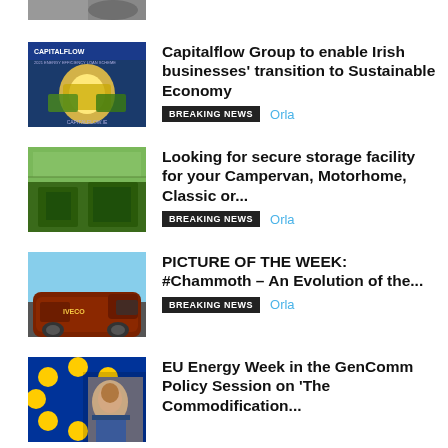[Figure (photo): Partial cropped image at top]
[Figure (photo): Capitalflow Group energy efficiency loan scheme advertisement with solar panels and lightbulb]
Capitalflow Group to enable Irish businesses' transition to Sustainable Economy
BREAKING NEWS  Orla
[Figure (photo): Aerial view of solar farm on green fields]
Looking for secure storage facility for your Campervan, Motorhome, Classic or...
BREAKING NEWS  Orla
[Figure (photo): Brown/maroon large van or motorhome vehicle]
PICTURE OF THE WEEK: #Chammoth – An Evolution of the...
BREAKING NEWS  Orla
[Figure (photo): Man in suit in front of EU flag with gold stars]
EU Energy Week in the GenComm Policy Session on 'The Commodification...